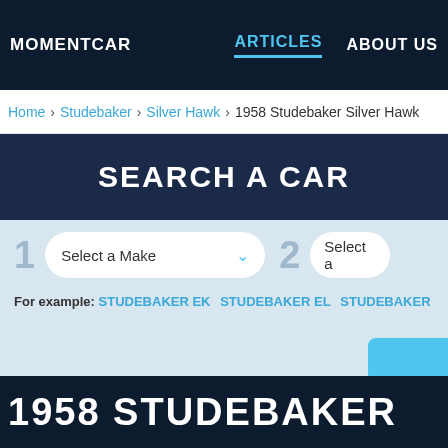MOMENTCAR   ARTICLES   ABOUT US
Home > Studebaker > Silver Hawk > 1958 Studebaker Silver Hawk
SEARCH A CAR
1  Select a Make  2  Select a
For example: STUDEBAKER EK   STUDEBAKER EL   STUDEBAKER
1958 STUDEBAKER